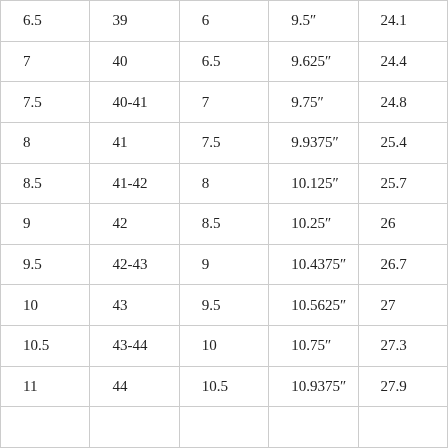| 6.5 | 39 | 6 | 9.5″ | 24.1 |
| 7 | 40 | 6.5 | 9.625″ | 24.4 |
| 7.5 | 40-41 | 7 | 9.75″ | 24.8 |
| 8 | 41 | 7.5 | 9.9375″ | 25.4 |
| 8.5 | 41-42 | 8 | 10.125″ | 25.7 |
| 9 | 42 | 8.5 | 10.25″ | 26 |
| 9.5 | 42-43 | 9 | 10.4375″ | 26.7 |
| 10 | 43 | 9.5 | 10.5625″ | 27 |
| 10.5 | 43-44 | 10 | 10.75″ | 27.3 |
| 11 | 44 | 10.5 | 10.9375″ | 27.9 |
|  |  |  |  |  |